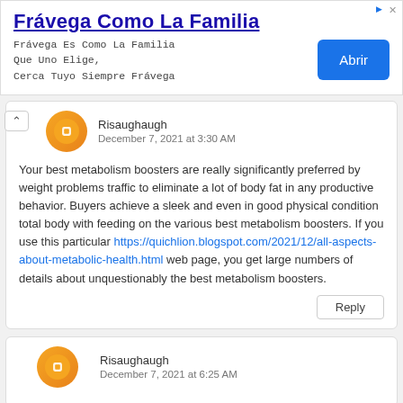[Figure (other): Advertisement banner for Frávega Como La Familia with title, description text, and Abrir button]
Your best metabolism boosters are really significantly preferred by weight problems traffic to eliminate a lot of body fat in any productive behavior. Buyers achieve a sleek and even in good physical condition total body with feeding on the various best metabolism boosters. If you use this particular https://quichlion.blogspot.com/2021/12/all-aspects-about-metabolic-health.html web page, you get large numbers of details about unquestionably the best metabolism boosters.
Risaughaugh
December 7, 2021 at 3:30 AM
Risaughaugh
December 7, 2021 at 6:25 AM